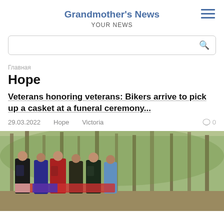Grandmother's News
YOUR NEWS
Главная
Hope
Veterans honoring veterans: Bikers arrive to pick up a casket at a funeral ceremony...
29.03.2022    Hope    Victoria    ◯ 0
[Figure (photo): Group of bikers/veterans standing together outdoors in a wooded area, appearing to carry or stand near a flag-draped casket]